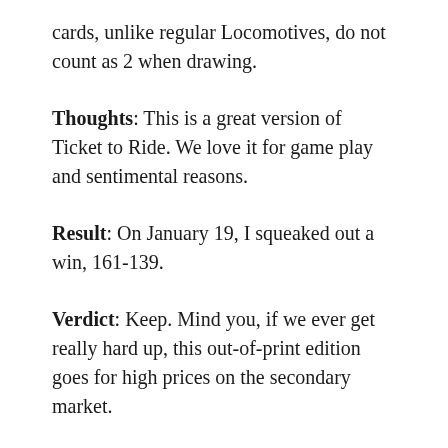cards, unlike regular Locomotives, do not count as 2 when drawing.
Thoughts: This is a great version of Ticket to Ride. We love it for game play and sentimental reasons.
Result: On January 19, I squeaked out a win, 161-139.
Verdict: Keep. Mind you, if we ever get really hard up, this out-of-print edition goes for high prices on the secondary market.